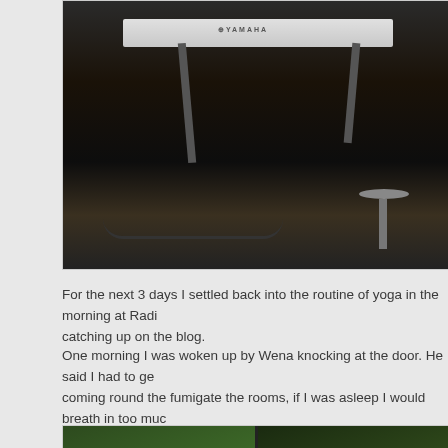[Figure (photo): Dark photo of a Yamaha keyboard on a stand in what appears to be a performance or rehearsal space, with a stool visible in the background.]
For the next 3 days I settled back into the routine of yoga in the morning at Radi... catching up on the blog.
One morning I was woken up by Wena knocking at the door. He said I had to ge... coming round the fumigate the rooms, if I was asleep I would breath in too much... had been several cases of malaria and so they were determined to get rid of all...
[Figure (photo): Two-panel photo showing a lush tropical garden with palm trees and plants on the left, and on the right a person crouching amid thick white fumigation smoke.]